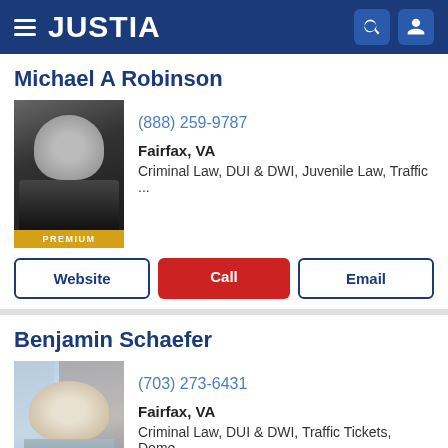JUSTIA
Michael A Robinson
(888) 259-9787
Fairfax, VA
Criminal Law, DUI & DWI, Juvenile Law, Traffic ...
PREMIUM
Benjamin Schaefer
(703) 273-6431
Fairfax, VA
Criminal Law, DUI & DWI, Traffic Tickets, Dome...
PREMIUM